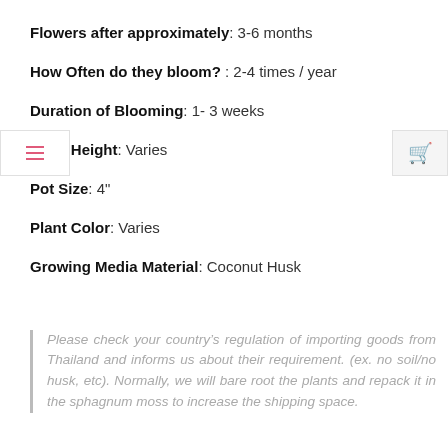Flowers after approximately: 3-6 months
How Often do they bloom? : 2-4 times / year
Duration of Blooming: 1- 3 weeks
Plant Height: Varies
Pot Size: 4"
Plant Color: Varies
Growing Media Material: Coconut Husk
Please check your country’s regulation of importing goods from Thailand and informs us about their requirement. (ex. no soil/no husk, etc). Normally, we will bare root the plants and repack it in the sphagnum moss to increase the shipping space.